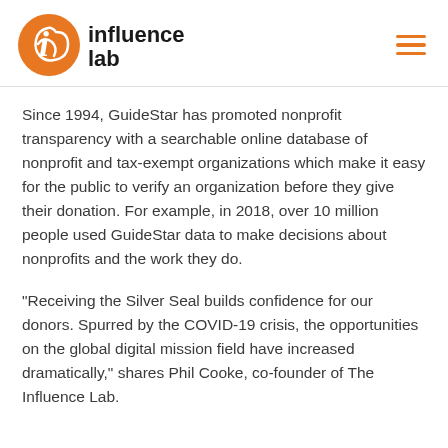influence lab
Since 1994, GuideStar has promoted nonprofit transparency with a searchable online database of nonprofit and tax-exempt organizations which make it easy for the public to verify an organization before they give their donation. For example, in 2018, over 10 million people used GuideStar data to make decisions about nonprofits and the work they do.
“Receiving the Silver Seal builds confidence for our donors. Spurred by the COVID-19 crisis, the opportunities on the global digital mission field have increased dramatically,” shares Phil Cooke, co-founder of The Influence Lab.